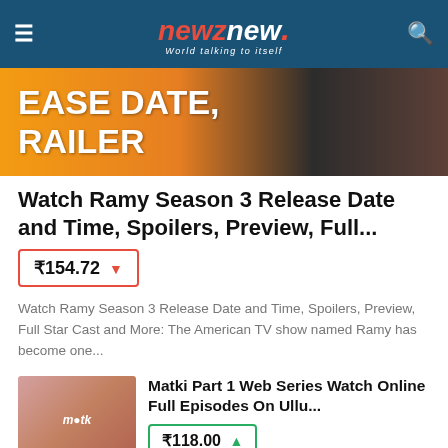newznew — World talking to itself
[Figure (photo): Hero banner image showing partial text 'EASE DATE, RAILER' over an orange/dark background with a leather jacket]
Watch Ramy Season 3 Release Date and Time, Spoilers, Preview, Full...
₹154.72 ▼
Watch Ramy Season 3 Release Date and Time, Spoilers, Preview, Full Star Cast and More: The American TV show named Ramy has become one...
[Figure (photo): Thumbnail image for Matki Part 1 web series showing a couple]
Matki Part 1 Web Series Watch Online Full Episodes On Ullu...
₹118.00 ▲
[Figure (photo): Thumbnail image for Jaan Bujh kar web series]
Jaan Bujh kar Web Series Watch Online All